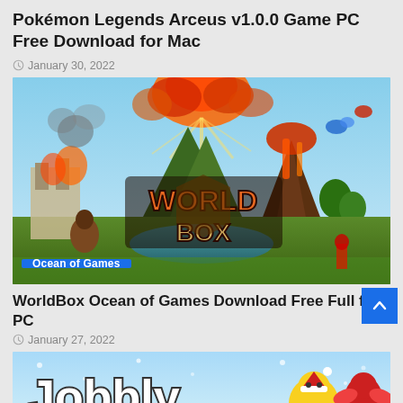Pokémon Legends Arceus v1.0.0 Game PC Free Download for Mac
January 30, 2022
[Figure (photo): WorldBox game promotional banner with colorful illustrated world scene and 'World Box' logo in the center. An 'Ocean of Games' label badge is shown in the bottom-left corner.]
WorldBox Ocean of Games Download Free Full for PC
January 27, 2022
[Figure (photo): Jobbly game promotional banner showing colorful cartoon characters including what appears to be a yellow character with a Santa hat on a winter/snowy background, with white bubble-letter 'Jobbly' text.]